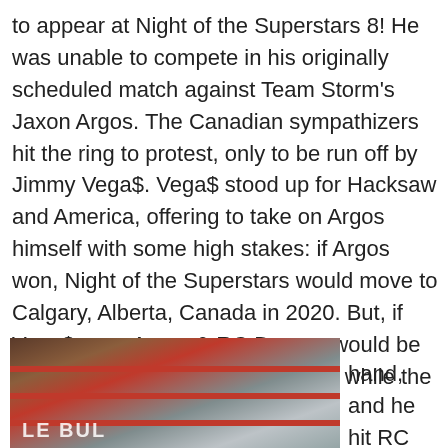to appear at Night of the Superstars 8! He was unable to compete in his originally scheduled match against Team Storm's Jaxon Argos. The Canadian sympathizers hit the ring to protest, only to be run off by Jimmy Vega$. Vega$ stood up for Hacksaw and America, offering to take on Argos himself with some high stakes: if Argos won, Night of the Superstars would move to Calgary, Alberta, Canada in 2020. But, if Vega$ won, Argos & RC Dupree would be forced to salute the American flag while the Star Spangled Banner played!
Vega$ paid tribute to his mentor Kurt Angle by donning an actual Kurt Angle singlet for the bout. During the match, interference from RCDupree forced Hacksaw's hand, and he hit RC with the
[Figure (photo): A wrestling ring photo showing red ropes and a wrestler in green gear, with a banner partially visible in the lower left reading partial text.]